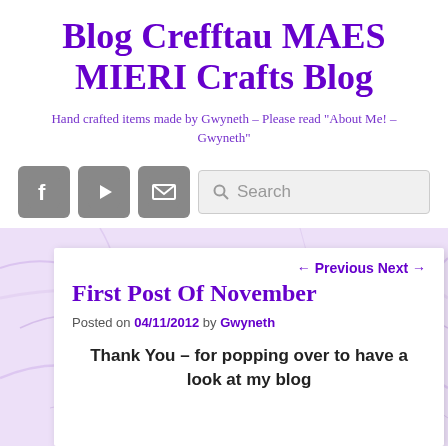Blog Crefftau MAES MIERI Crafts Blog
Hand crafted items made by Gwyneth – Please read "About Me! – Gwyneth"
[Figure (infographic): Social media toolbar with Facebook icon, YouTube icon, email/envelope icon, and a search box with magnifying glass icon]
First Post Of November
Posted on 04/11/2012 by Gwyneth
Thank You – for popping over to have a look at my blog